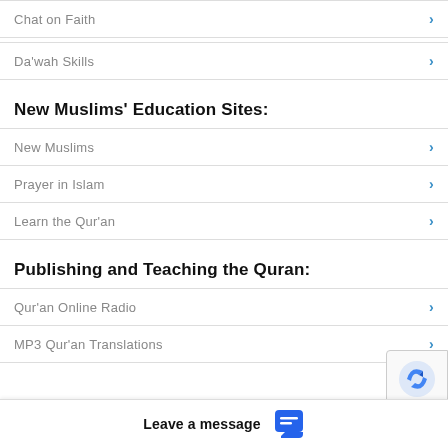Chat on Faith
Da'wah Skills
New Muslims' Education Sites:
New Muslims
Prayer in Islam
Learn the Qur'an
Publishing and Teaching the Quran:
Qur'an Online Radio
MP3 Qur'an Translations
Leave a message